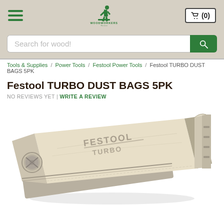WOODWORKERS Source
Search for wood!
Tools & Supplies / Power Tools / Festool Power Tools / Festool TURBO DUST BAGS 5PK
Festool TURBO DUST BAGS 5PK
NO REVIEWS YET | WRITE A REVIEW
[Figure (photo): Festool Turbo dust bag — a beige/cream colored rectangular dust collection bag with cardboard bottom panel, round inlet port on the left side, metal clip attachment on the right end, and 'FESTOOL TURBO' text printed diagonally on the top surface.]